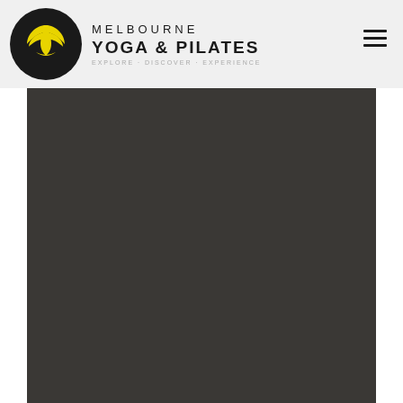Melbourne Yoga & Pilates
[Figure (photo): Dark charcoal/dark brown full-bleed photo area, approximately the lower three-quarters of the page, likely a yoga or pilates studio image rendered as a dark background]